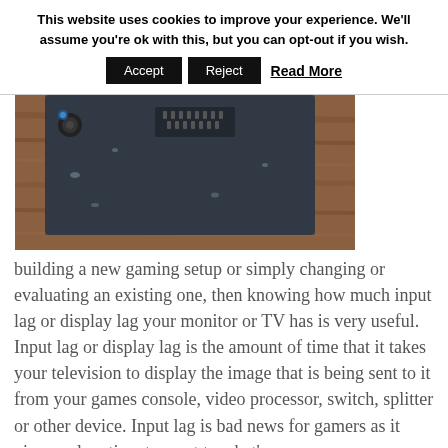This website uses cookies to improve your experience. We'll assume you're ok with this, but you can opt-out if you wish.
Accept | Reject | Read More
[Figure (photo): Close-up photo of a dark electronic device (possibly a gaming peripheral or HDMI splitter) on a wooden surface, showing connectors and ports on top.]
building a new gaming setup or simply changing or evaluating an existing one, then knowing how much input lag or display lag your monitor or TV has is very useful. Input lag or display lag is the amount of time that it takes your television to display the image that is being sent to it from your games console, video processor, switch, splitter or other device. Input lag is bad news for gamers as it gives us less time to react to what's on screen.